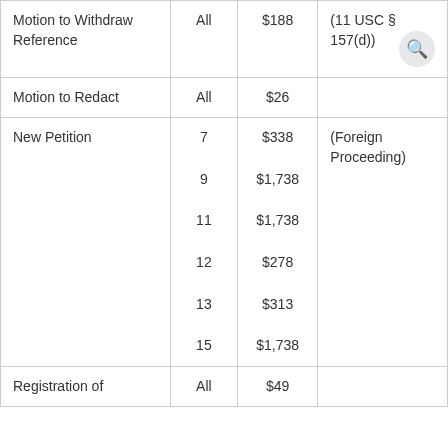| Filing Type | Chapter | Fee | Notes |
| --- | --- | --- | --- |
| Motion to Withdraw Reference | All | $188 | (11 USC § 157(d)) |
| Motion to Redact | All | $26 |  |
| New Petition | 7
9
11
12
13
15 | $338
$1,738
$1,738
$278
$313
$1,738 | (Foreign Proceeding) |
| Registration of | All | $49 |  |